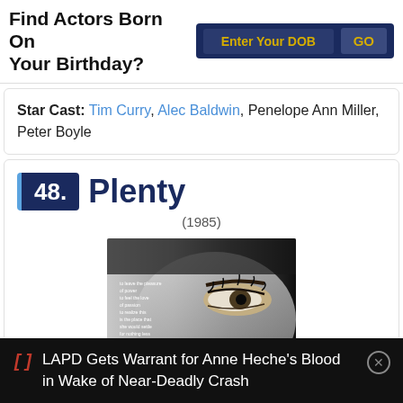Find Actors Born On Your Birthday?
Star Cast: Tim Curry, Alec Baldwin, Penelope Ann Miller, Peter Boyle
48. Plenty (1985)
[Figure (photo): Movie poster for Plenty (1985) showing a close-up of a woman's eyes in black and white with overlaid text]
LAPD Gets Warrant for Anne Heche's Blood in Wake of Near-Deadly Crash